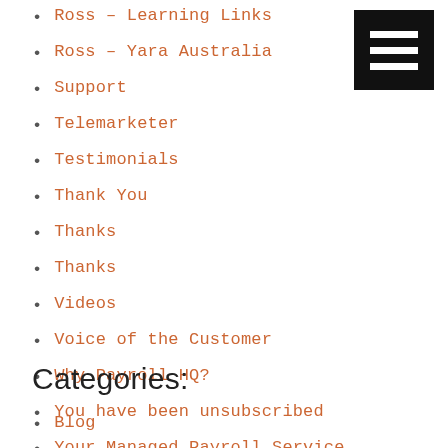Ross – Learning Links
Ross – Yara Australia
Support
Telemarketer
Testimonials
Thank You
Thanks
Thanks
Videos
Voice of the Customer
Why Payroll HQ?
You have been unsubscribed
Your Managed Payroll Service
Categories:
Blog